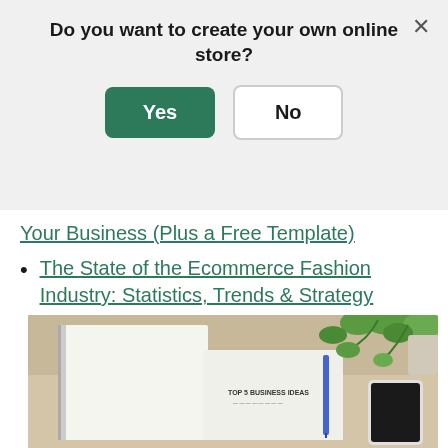Do you want to create your own online store?
Yes | No
Your Business (Plus a Free Template)
The State of the Ecommerce Fashion Industry: Statistics, Trends & Strategy
[Figure (photo): Open notebook with 'TOP 5 BUSINESS IDEAS' written on it, a blue pen, a smartphone, and green plant vines on a wooden desk surface.]